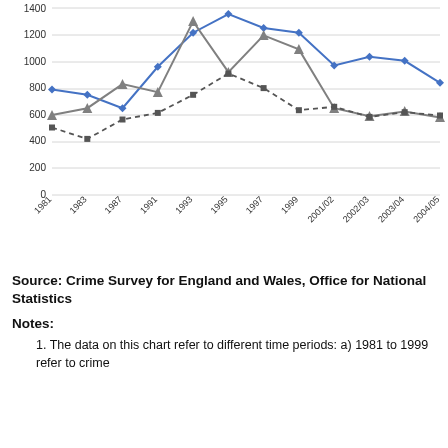[Figure (line-chart): ]
Source: Crime Survey for England and Wales, Office for National Statistics
Notes:
1. The data on this chart refer to different time periods: a) 1981 to 1999 refer to crime